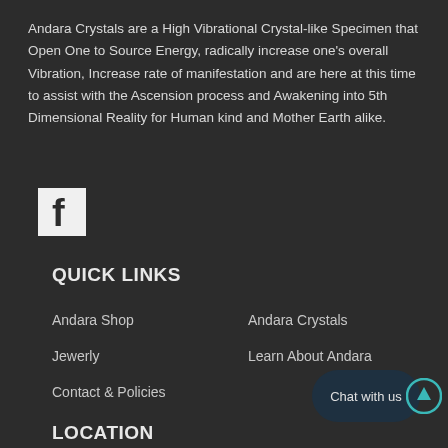Andara Crystals are a High Vibrational Crystal-like Specimen that Open One to Source Energy, radically increase one's overall Vibration, Increase rate of manifestation and are here at this time to assist with the Ascension process and Awakening into 5th Dimensional Reality for Human kind and Mother Earth alike.
[Figure (logo): Facebook logo icon - white 'f' on dark square background]
QUICK LINKS
Andara Shop
Andara Crystals
Jewerly
Learn About Andara
Contact & Policies
[Figure (other): Chat with us button - dark teal rounded button]
[Figure (other): Scroll up button - teal circle with upward arrow]
LOCATION